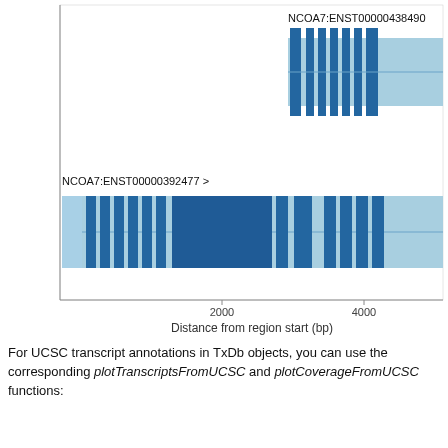[Figure (other): Genome transcript visualization showing two transcript tracks: NCOA7:ENST00000438490 (partial, top right) and NCOA7:ENST00000392477 (bottom, with exons shown as dark blue blocks on a light blue UTR background, connected by thin lines for introns). X-axis labeled 'Distance from region start (bp)' with tick marks at 2000 and 4000.]
For UCSC transcript annotations in TxDb objects, you can use the corresponding plotTranscriptsFromUCSC and plotCoverageFromUCSC functions: